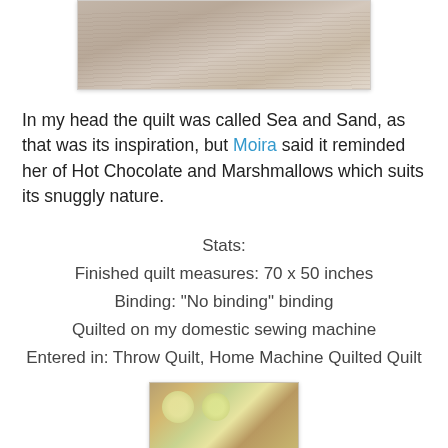[Figure (photo): Close-up photo of fabric — a soft taupe/beige textured cloth overlapping a cream waffle-weave fabric, cropped at top of page.]
In my head the quilt was called Sea and Sand, as that was its inspiration, but Moira said it reminded her of Hot Chocolate and Marshmallows which suits its snuggly nature.
Stats:
Finished quilt measures: 70 x 50 inches
Binding: "No binding" binding
Quilted on my domestic sewing machine
Entered in: Throw Quilt, Home Machine Quilted Quilt
[Figure (photo): Photo of a quilt detail showing a woven/basket-weave background fabric with circular yellow-green floral or egg-shaped appliqué shapes arranged across it.]